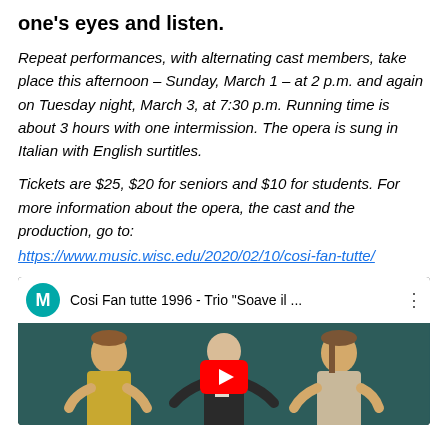one's eyes and listen.
Repeat performances, with alternating cast members, take place this afternoon – Sunday, March 1 – at 2 p.m. and again on Tuesday night, March 3, at 7:30 p.m. Running time is about 3 hours with one intermission. The opera is sung in Italian with English surtitles.
Tickets are $25, $20 for seniors and $10 for students. For more information about the opera, the cast and the production, go to:
https://www.music.wisc.edu/2020/02/10/cosi-fan-tutte/
[Figure (screenshot): YouTube video thumbnail showing Cosi Fan tutte 1996 - Trio 'Soave il ...' with three performers in period costume on a teal/dark background, with a red YouTube play button overlay.]